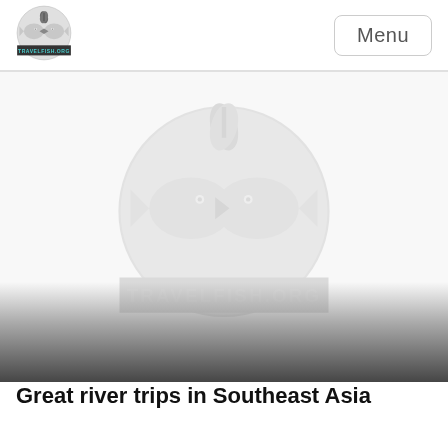Menu
[Figure (logo): Travelfish.org logo in header — two fish facing each other in a circle with TRAVELFISH.ORG text below]
[Figure (illustration): Large greyscale Travelfish.org watermark logo centered in hero image area, with gradient overlay fading to dark grey at bottom]
Great river trips in Southeast Asia